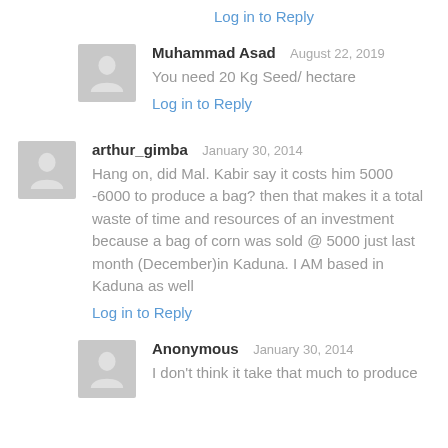Log in to Reply
Muhammad Asad   August 22, 2019
You need 20 Kg Seed/ hectare
Log in to Reply
arthur_gimba   January 30, 2014
Hang on, did Mal. Kabir say it costs him 5000 -6000 to produce a bag? then that makes it a total waste of time and resources of an investment because a bag of corn was sold @ 5000 just last month (December)in Kaduna. I AM based in Kaduna as well
Log in to Reply
Anonymous   January 30, 2014
I don't think it take that much to produce